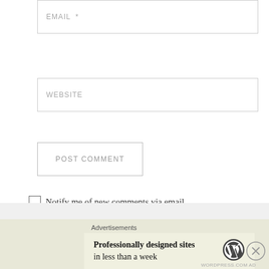EMAIL *
WEBSITE
POST COMMENT
Notify me of new comments via email.
Notify me of new posts via email.
Advertisements
[Figure (other): Blue to purple gradient horizontal bar (advertisement)]
Advertisements
Professionally designed sites in less than a week